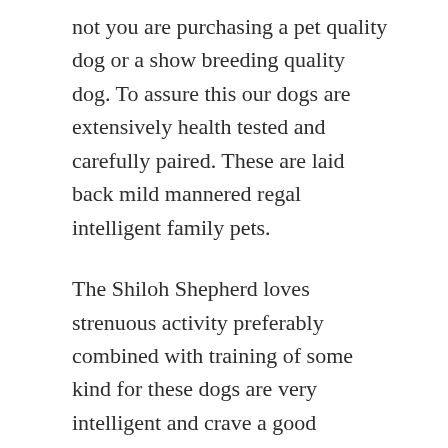not you are purchasing a pet quality dog or a show breeding quality dog. To assure this our dogs are extensively health tested and carefully paired. These are laid back mild mannered regal intelligent family pets.
The Shiloh Shepherd loves strenuous activity preferably combined with training of some kind for these dogs are very intelligent and crave a good challenge. Having selected foundation dogs in 1974 she started creating the Shiloh Shepherds. Our dogs and puppies are important members of our family and are raised in a loving home environment.